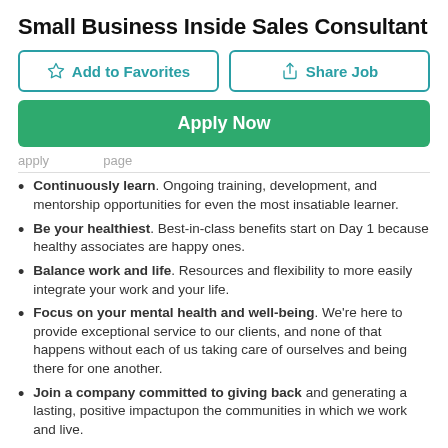Small Business Inside Sales Consultant
[Figure (other): Two action buttons: 'Add to Favorites' and 'Share Job' with teal borders and icons]
[Figure (other): Green 'Apply Now' button]
[partially visible faded text above divider]
Continuously learn. Ongoing training, development, and mentorship opportunities for even the most insatiable learner.
Be your healthiest. Best-in-class benefits start on Day 1 because healthy associates are happy ones.
Balance work and life. Resources and flexibility to more easily integrate your work and your life.
Focus on your mental health and well-being. We're here to provide exceptional service to our clients, and none of that happens without each of us taking care of ourselves and being there for one another.
Join a company committed to giving back and generating a lasting, positive impactupon the communities in which we work and live.
Get paid to pay it forward. Company-paid time off for